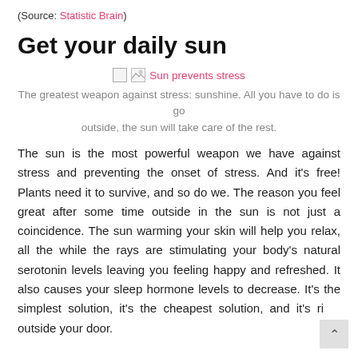(Source: Statistic Brain)
Get your daily sun
[Figure (photo): Broken image placeholder labeled 'Sun prevents stress']
The greatest weapon against stress: sunshine. All you have to do is go outside, the sun will take care of the rest.
The sun is the most powerful weapon we have against stress and preventing the onset of stress. And it's free! Plants need it to survive, and so do we. The reason you feel great after some time outside in the sun is not just a coincidence. The sun warming your skin will help you relax, all the while the rays are stimulating your body's natural serotonin levels leaving you feeling happy and refreshed. It also causes your sleep hormone levels to decrease. It's the simplest solution, it's the cheapest solution, and it's right outside your door.